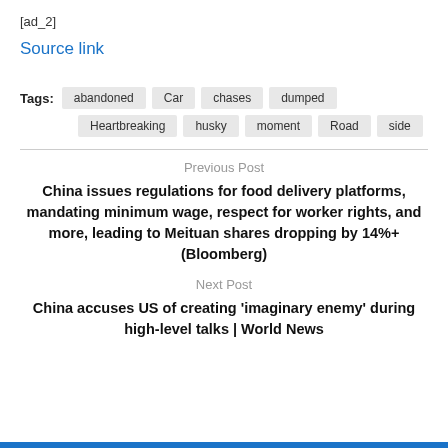[ad_2]
Source link
Tags: abandoned  Car  chases  dumped  Heartbreaking  husky  moment  Road  side
Previous Post
China issues regulations for food delivery platforms, mandating minimum wage, respect for worker rights, and more, leading to Meituan shares dropping by 14%+ (Bloomberg)
Next Post
China accuses US of creating 'imaginary enemy' during high-level talks | World News